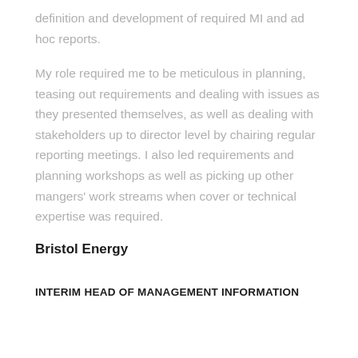definition and development of required MI and ad hoc reports.
My role required me to be meticulous in planning, teasing out requirements and dealing with issues as they presented themselves, as well as dealing with stakeholders up to director level by chairing regular reporting meetings. I also led requirements and planning workshops as well as picking up other mangers' work streams when cover or technical expertise was required.
Bristol Energy
INTERIM HEAD OF MANAGEMENT INFORMATION